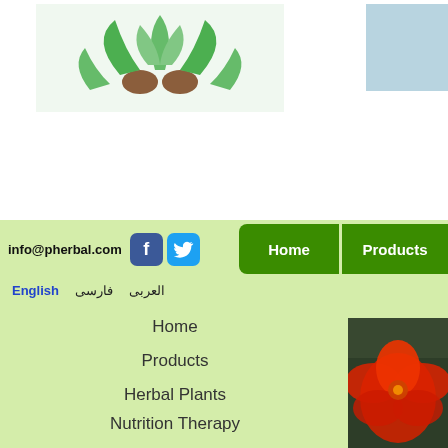[Figure (illustration): Herbal plant logo with green leaves and brown seeds/nuts on white background]
[Figure (photo): Light blue box, partial sidebar element]
info@pherbal.com
[Figure (logo): Facebook icon (blue rounded square with white f)]
[Figure (logo): Twitter icon (blue rounded square with white bird)]
Home   Products
English   فارسی   العربی
Home
Products
Herbal Plants
Nutrition Therapy
Health Benefit
Essential Oils
[Figure (photo): Close-up photo of a red hibiscus flower with blurred green background]